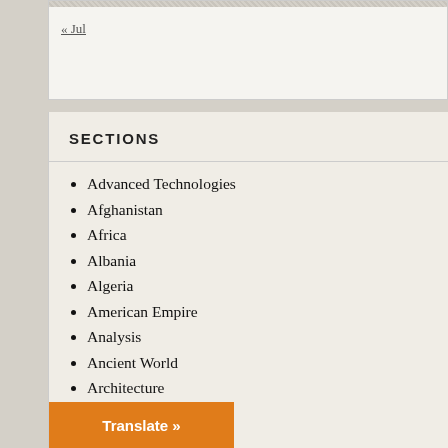« Jul
SECTIONS
Advanced Technologies
Afghanistan
Africa
Albania
Algeria
American Empire
Analysis
Ancient World
Architecture
Argentina
Arts
Asia
Assange extradition